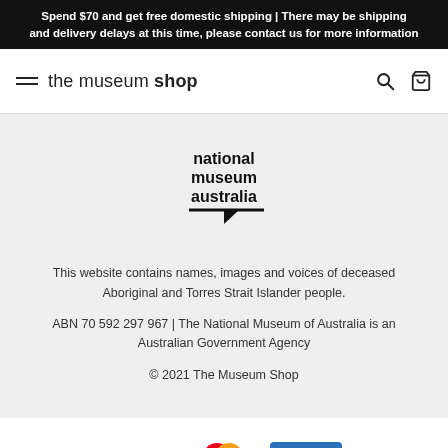Spend $70 and get free domestic shipping | There may be shipping and delivery delays at this time, please contact us for more information
[Figure (logo): The museum shop navigation bar with hamburger menu, brand name 'the museum shop', search icon and cart icon]
[Figure (logo): National Museum Australia logo with stylized speech bubble arrow graphic]
This website contains names, images and voices of deceased Aboriginal and Torres Strait Islander people.
ABN 70 592 297 967 | The National Museum of Australia is an Australian Government Agency
© 2021 The Museum Shop
[Figure (logo): Payment method logos: VISA, Mastercard, American Express]